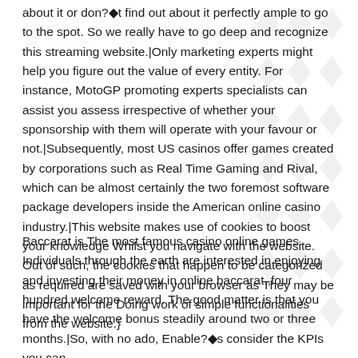about it or don?◆t find out about it perfectly ample to go to the spot. So we really have to go deep and recognize this streaming website.|Only marketing experts might help you figure out the value of every entity. For instance, MotoGP promoting experts specialists can assist you assess irrespective of whether your sponsorship with them will operate with your favour or not.|Subsequently, most US casinos offer games created by corporations such as Real Time Gaming and Rival, which can be almost certainly the two foremost software package developers inside the American online casino industry.|This website makes use of cookies to boost your knowledge Whilst you navigate with the website. Out of such, the cookies that happen to be categorized as required are saved with your browser as They may be important for the Doing work of simple functionalities from the website.}
Baccarat is The most famous casino online games. Individuals through the earth are interested in enjoying and investing their money in online baccarat.,four hundred welcome reward. The good matter is that you have the welcome bonus steadily around two or three months.|So, with no ado, Enable?◆s consider the KPIs you can